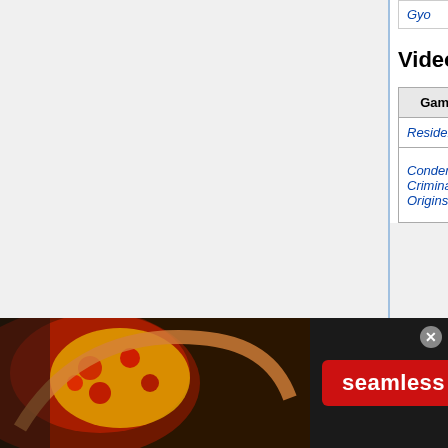| Game Title | Appears as | Mods | Notation | Date |
| --- | --- | --- | --- | --- |
| Gyo | Huntsmen |  |  | 2012 |
Video Games
| Game Title | Appears as | Mods | Notation | Date |
| --- | --- | --- | --- | --- |
| Resident Evil 0 | Hunting Gun |  |  | 200[x] |
| Condemned: Criminal Origins | Sawed-Off Shotgun |  | Sawed off version with shorter barrels and an unusually short ... | 200[x] |
[Figure (screenshot): Seamless food delivery advertisement banner with pizza image, Seamless logo, and ORDER NOW button]